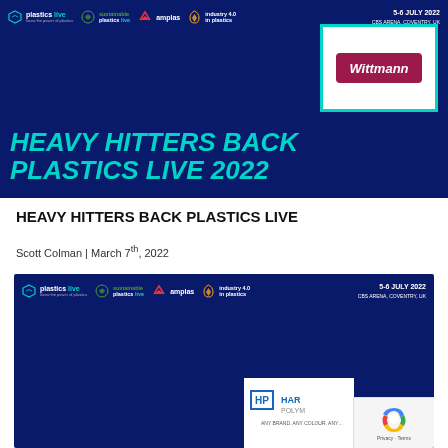[Figure (photo): Dark blue promotional banner for Plastics Live 2022 event showing event logos (plastics live, sustainable plastics live, amplas, industry 4.0 in plastics), date '5-6 JULY 2022 CBS ARENA, COVENTRY, UK', a Wittmann logo in a white box with teal border, and large italic cyan text reading 'HEAVY HITTERS BACK PLASTICS LIVE 2022']
HEAVY HITTERS BACK PLASTICS LIVE
Scott Colman | March 7th, 2022
[Figure (photo): Second dark blue promotional banner for Plastics Live 2022 with same event logos and date, partial view of Harper Polym... logo in white box at bottom right, with reCAPTCHA badge overlay]